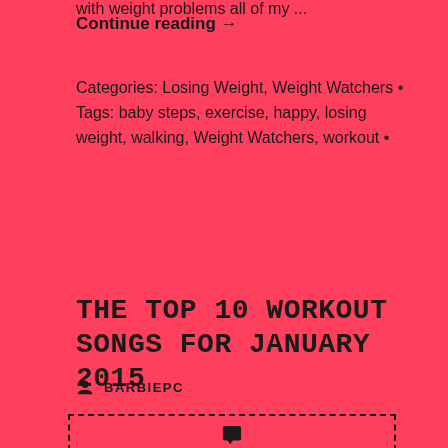with weight problems all of my ...
Continue reading →
Categories: Losing Weight, Weight Watchers • Tags: baby steps, exercise, happy, losing weight, walking, Weight Watchers, workout •
THE TOP 10 WORKOUT SONGS FOR JANUARY 2015
BARBIEPC
NO COMMENTS